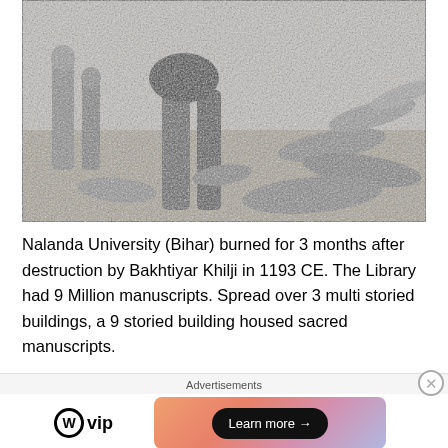[Figure (illustration): Black and white historical illustration depicting fallen figures on the ground with standing figures and horses, representing the destruction of Nalanda University by Bakhtiyar Khilji in 1193 CE.]
Nalanda University (Bihar) burned for 3 months after destruction by Bakhtiyar Khilji in 1193 CE. The Library had 9 Million manuscripts. Spread over 3 multi storied buildings, a 9 storied building housed sacred manuscripts.
Advertisements
[Figure (logo): WordPress VIP logo and advertisement banner with 'Learn more' button]